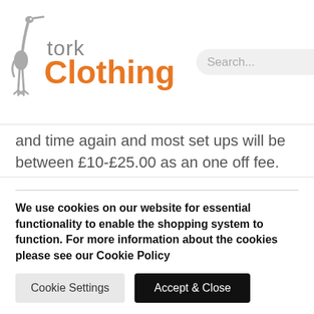[Figure (logo): Stork Clothing logo with stork bird SVG in grey and 'Clothing' text in orange]
and time again and most set ups will be between £10-£25.00 as an one off fee.   If you have your logo already designed the likelihood is that you already have a file we can use, your designer can help but its most likely to be a .ai or .eps file. (Adobe Illustrator or Corel Draw)  If you don't have these files don't panic a vectored file can still be created even from a photo on your mobile.
We use cookies on our website for essential functionality to enable the shopping system to function. For more information about the cookies please see our Cookie Policy